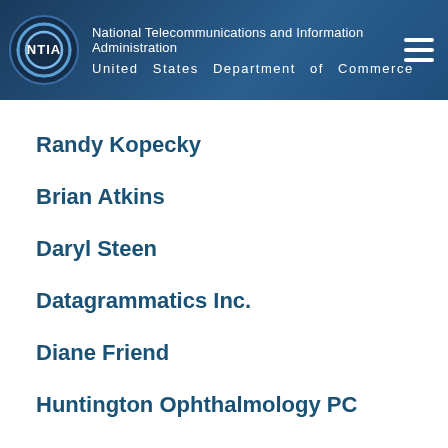National Telecommunications and Information Administration | United States Department of Commerce
Randy Kopecky
Brian Atkins
Daryl Steen
Datagrammatics Inc.
Diane Friend
Huntington Ophthalmology PC